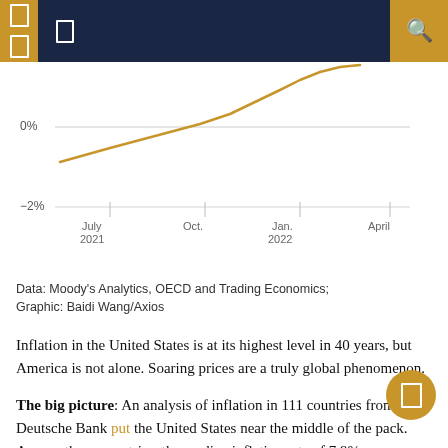[Figure (line-chart): Global inflation line chart]
Data: Moody's Analytics, OECD and Trading Economics; Graphic: Baidi Wang/Axios
Inflation in the United States is at its highest level in 40 years, but America is not alone. Soaring prices are a truly global phenomenon.
The big picture: An analysis of inflation in 111 countries from Deutsche Bank put the United States near the middle of the pack. Among these countries, the median inflation rate of 7.9% year-on-year more than doubled from 3.0% a year ago, largely on the back of soaring energy and commodity prices. food